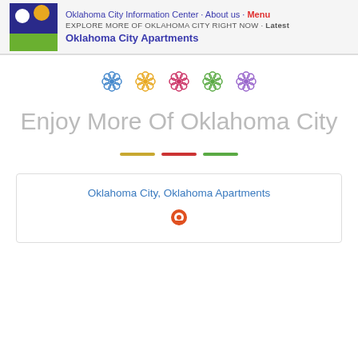Oklahoma City Information Center · About us · Menu
EXPLORE MORE OF OKLAHOMA CITY RIGHT NOW · Latest
Oklahoma City Apartments
[Figure (illustration): Five decorative flower icons in a row: blue, yellow/orange, pink/red, green, and purple/lavender]
Enjoy More Of Oklahoma City
[Figure (illustration): Three horizontal dashes/lines: yellow, red, green]
Oklahoma City, Oklahoma Apartments
[Figure (illustration): Map pin/location icon in red/orange color]